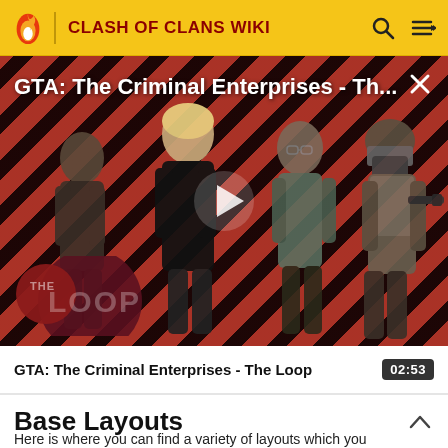CLASH OF CLANS WIKI
[Figure (screenshot): Video thumbnail for 'GTA: The Criminal Enterprises - The Loop' showing four GTA Online characters (young male, blonde female in black, male in glasses, armored soldier) against a red and black diagonal stripe background. A play button is visible in the center. The Loop logo (circle with 'THE LOOP' text) is in the lower left. An X close button is in the upper right.]
GTA: The Criminal Enterprises - The Loop
Base Layouts
Here is where you can find a variety of layouts which you